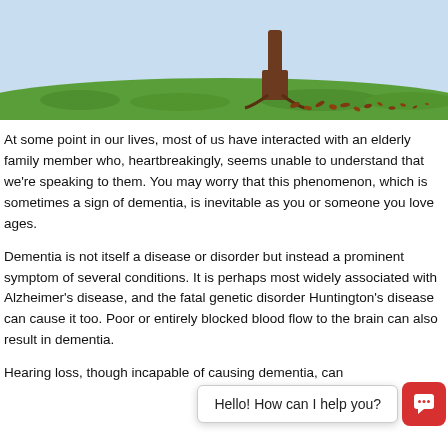[Figure (illustration): Illustration of a leafless tree with fallen leaves on green grass field, sky in background]
At some point in our lives, most of us have interacted with an elderly family member who, heartbreakingly, seems unable to understand that we're speaking to them. You may worry that this phenomenon, which is sometimes a sign of dementia, is inevitable as you or someone you love ages.
Dementia is not itself a disease or disorder but instead a prominent symptom of several conditions. It is perhaps most widely associated with Alzheimer's disease, and the fatal genetic disorder Huntington's disease can cause it too. Poor or entirely blocked blood flow to the brain can also result in dementia.
Hearing loss, though incapable of causing dementia, can
[Figure (screenshot): Chat widget overlay with speech bubble saying 'Hello! How can I help you?' and red chat icon button]